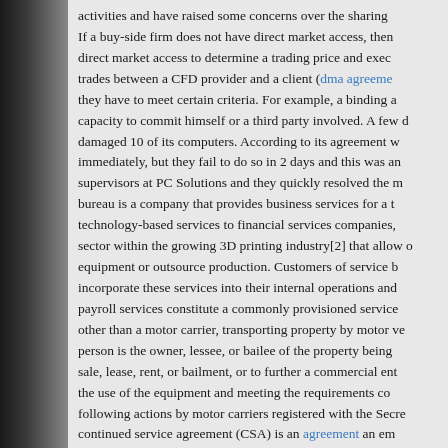activities and have raised some concerns over the sharing If a buy-side firm does not have direct market access, then direct market access to determine a trading price and exec trades between a CFD provider and a client (dma agreement they have to meet certain criteria. For example, a binding a capacity to commit himself or a third party involved. A few d damaged 10 of its computers. According to its agreement w immediately, but they fail to do so in 2 days and this was an supervisors at PC Solutions and they quickly resolved the m bureau is a company that provides business services for a t technology-based services to financial services companies, sector within the growing 3D printing industry[2] that allow o equipment or outsource production. Customers of service b incorporate these services into their internal operations and payroll services constitute a commonly provisioned service other than a motor carrier, transporting property by motor ve person is the owner, lessee, or bailee of the property being sale, lease, rent, or bailment, or to further a commercial ent the use of the equipment and meeting the requirements co following actions by motor carriers registered with the Secre continued service agreement (CSA) is an agreement an em